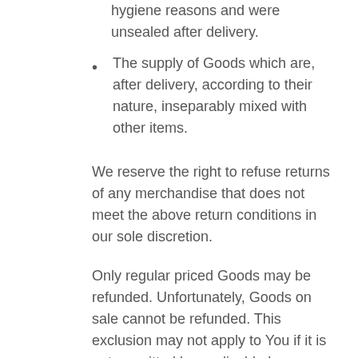hygiene reasons and were unsealed after delivery.
The supply of Goods which are, after delivery, according to their nature, inseparably mixed with other items.
We reserve the right to refuse returns of any merchandise that does not meet the above return conditions in our sole discretion.
Only regular priced Goods may be refunded. Unfortunately, Goods on sale cannot be refunded. This exclusion may not apply to You if it is not permitted by applicable law.
Returning Goods
You are responsible for the cost and risk of